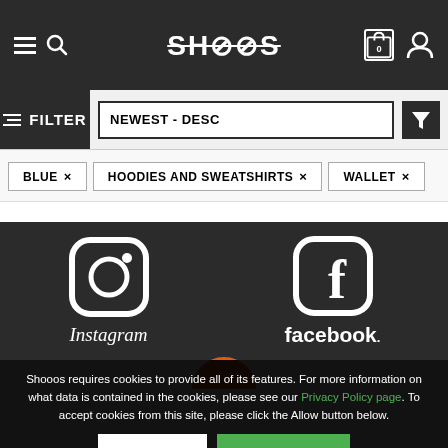[Figure (screenshot): Navigation header bar with hamburger menu, search icon, SHOOOS logo, cart with 0 items, and user profile icon on dark background]
FILTER
NEWEST - DESC
BLUE ×
HOODIES AND SWEATSHIRTS ×
WALLET ×
[Figure (logo): Instagram logo icon (rounded square with circle and dot) and Instagram wordmark in white on dark background]
[Figure (logo): Facebook logo icon (rounded square with f letter) and facebook wordmark in white on dark background]
Shooos requires cookies to provide all of its features. For more information on what data is contained in the cookies, please see our Privacy Policy page. To accept cookies from this site, please click the Allow button below.
SETTINGS
ALLOW ALL